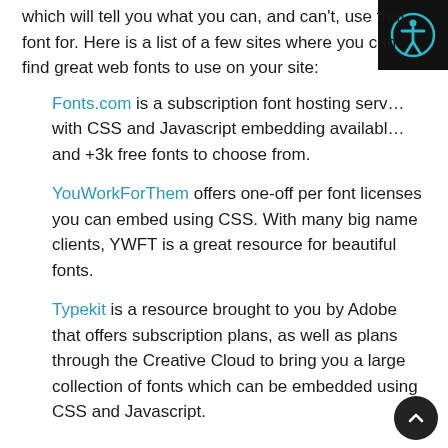which will tell you what you can, and can't, use that font for. Here is a list of a few sites where you can find great web fonts to use on your site:
Fonts.com is a subscription font hosting service with CSS and Javascript embedding available and +3k free fonts to choose from.
YouWorkForThem offers one-off per font licenses you can embed using CSS. With many big name clients, YWFT is a great resource for beautiful fonts.
Typekit is a resource brought to you by Adobe that offers subscription plans, as well as plans through the Creative Cloud to bring you a large collection of fonts which can be embedded using CSS and Javascript.